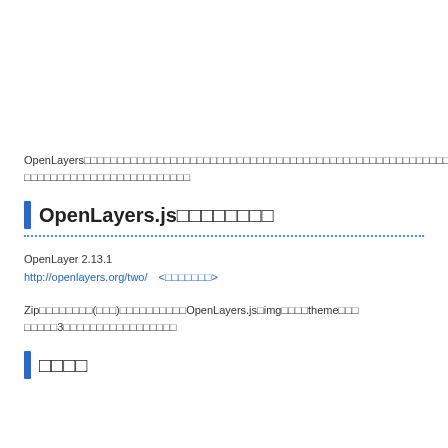OpenLayers□□□□□□□□□□□□□□□□□□□□□□□□□□□□□□□□□□□□□□□□□□□□□□□□□□□□□□□□□□□□□□□□□□□□□□□□□□□□□□□□□□□□□□□□
OpenLayers.js□□□□□□□□
OpenLayer 2.13.1
http://openlayers.org/two/　<□□□□□□□>
Zip□□□□□□□□(□□□)□□□□□□□□□□OpenLayers.js□img□□□□theme□□□□□□□□3□□□□□□□□□□□□□□□□□
□□□□